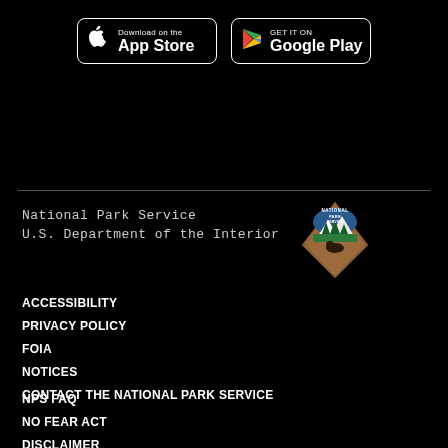[Figure (logo): Download on the App Store button]
[Figure (logo): Get it on Google Play button]
[Figure (logo): National Park Service arrowhead logo]
National Park Service
U.S. Department of the Interior
ACCESSIBILITY
PRIVACY POLICY
FOIA
NOTICES
CONTACT THE NATIONAL PARK SERVICE
NPS FAQ
NO FEAR ACT
DISCLAIMER
VULNERABILITY DISCLOSURE STATEMENT
USA.GOV